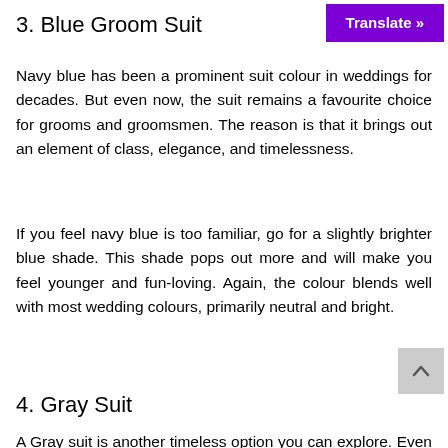3. Blue Groom Suit
Navy blue has been a prominent suit colour in weddings for decades. But even now, the suit remains a favourite choice for grooms and groomsmen. The reason is that it brings out an element of class, elegance, and timelessness.
If you feel navy blue is too familiar, go for a slightly brighter blue shade. This shade pops out more and will make you feel younger and fun-loving. Again, the colour blends well with most wedding colours, primarily neutral and bright.
4. Gray Suit
A Gray suit is another timeless option you can explore. Even after being a to-go suit option for decades, the grey suit will still give a fresh modern look. You can also personalise it with different shirt colours, ties, shoes, socks, and glasses to elevate your look.